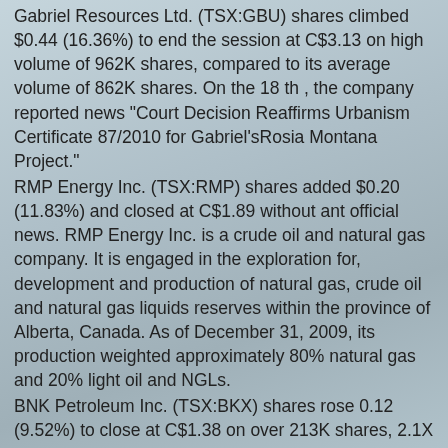Gabriel Resources Ltd. (TSX:GBU) shares climbed $0.44 (16.36%) to end the session at C$3.13 on high volume of 962K shares, compared to its average volume of 862K shares. On the 18 th , the company reported news "Court Decision Reaffirms Urbanism Certificate 87/2010 for Gabriel'sRosia Montana Project."
RMP Energy Inc. (TSX:RMP) shares added $0.20 (11.83%) and closed at C$1.89 without ant official news. RMP Energy Inc. is a crude oil and natural gas company. It is engaged in the exploration for, development and production of natural gas, crude oil and natural gas liquids reserves within the province of Alberta, Canada. As of December 31, 2009, its production weighted approximately 80% natural gas and 20% light oil and NGLs.
BNK Petroleum Inc. (TSX:BKX) shares rose 0.12 (9.52%) to close at C$1.38 on over 213K shares, 2.1X its average volume. The company announced that the Miszewo T-1 well, on the Trzebielino Concession in Poland held by its wholly owned subsidiary Indiana Investments Sp. z o.o., has been drilled to a depth of approximately 4,840 meters, which is the lower portion of the Middle Silurian formation (Wenlock).
Arsenal Energy Inc. (TSX:AEI) climbed 0.050 (8.93%) to